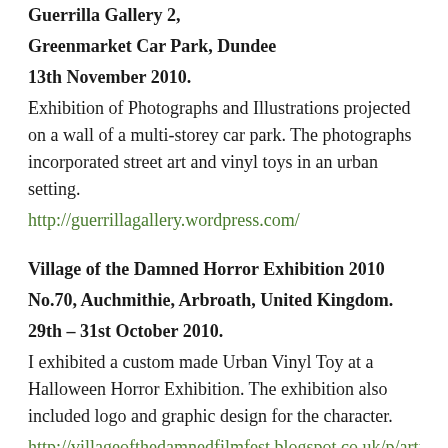Guerrilla Gallery 2,
Greenmarket Car Park, Dundee
13th November 2010.
Exhibition of Photographs and Illustrations projected on a wall of a multi-storey car park. The photographs incorporated street art and vinyl toys in an urban setting.
http://guerrillagallery.wordpress.com/
Village of the Damned Horror Exhibition 2010
No.70, Auchmithie, Arbroath, United Kingdom.
29th – 31st October 2010.
I exhibited a custom made Urban Vinyl Toy at a Halloween Horror Exhibition. The exhibition also included logo and graphic design for the character.
http://villageofthedamnedfilmfest.blogspot.co.uk/p/artists.ht
Papergirl Manchester Exhibition